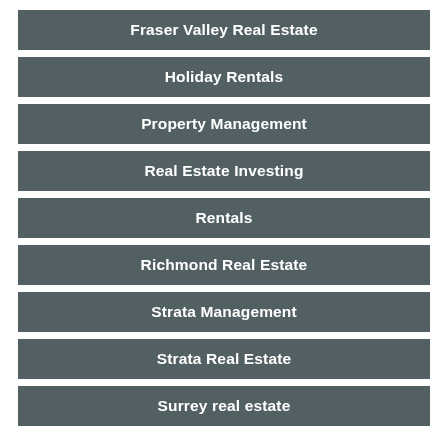Fraser Valley Real Estate
Holiday Rentals
Property Management
Real Estate Investing
Rentals
Richmond Real Estate
Strata Management
Strata Real Estate
Surrey real estate